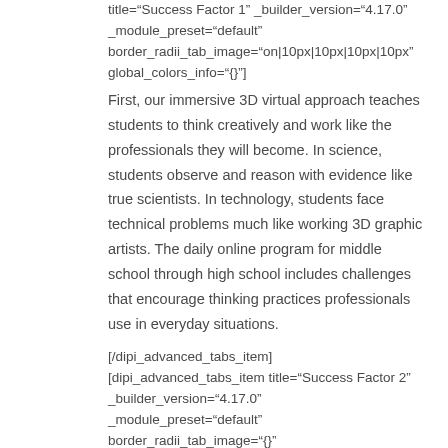title="Success Factor 1" _builder_version="4.17.0" _module_preset="default" border_radii_tab_image="on|10px|10px|10px|10px" global_colors_info="{}"]
First, our immersive 3D virtual approach teaches students to think creatively and work like the professionals they will become. In science, students observe and reason with evidence like true scientists. In technology, students face technical problems much like working 3D graphic artists. The daily online program for middle school through high school includes challenges that encourage thinking practices professionals use in everyday situations.
[/dipi_advanced_tabs_item] [dipi_advanced_tabs_item title="Success Factor 2" _builder_version="4.17.0" _module_preset="default" border_radii_tab_image="on|{}"]